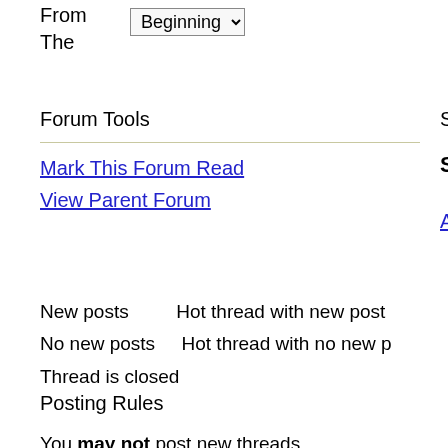From The  Beginning (dropdown)
Forum Tools
Search thi
Mark This Forum Read
View Parent Forum
Search th (bold)
Advanced
New posts    Hot thread with new post
No new posts    Hot thread with no new p
Thread is closed
Posting Rules
You may not post new threads
You may not post replies
You may not post attachments
You may not edit your posts
vB code is On
Smilies are On
[IMG] code is On
HTML code is Off